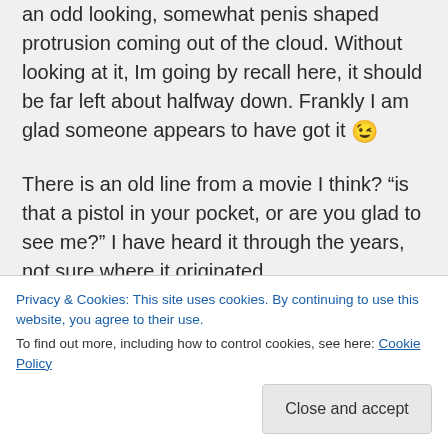an odd looking, somewhat penis shaped protrusion coming out of the cloud. Without looking at it, Im going by recall here, it should be far left about halfway down. Frankly I am glad someone appears to have got it 😉
There is an old line from a movie I think? “is that a pistol in your pocket, or are you glad to see me?” I have heard it through the years, not sure where it originated.
Privacy & Cookies: This site uses cookies. By continuing to use this website, you agree to their use.
To find out more, including how to control cookies, see here: Cookie Policy